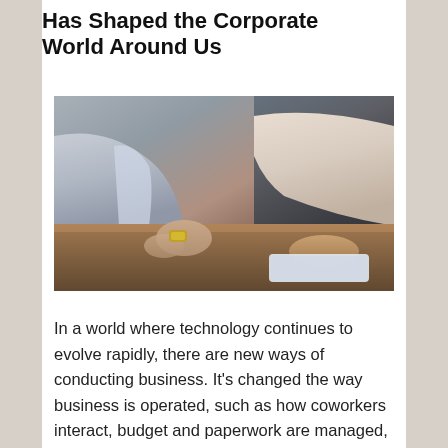Has Shaped the Corporate World Around Us
[Figure (photo): Two business professionals seated at a wooden table, one wearing a light gray suit jacket with a gold watch, the other in a cream top, appearing to review a document or tablet together.]
In a world where technology continues to evolve rapidly, there are new ways of conducting business. It's changed the way business is operated, such as how coworkers interact, budget and paperwork are managed, methods of solution and